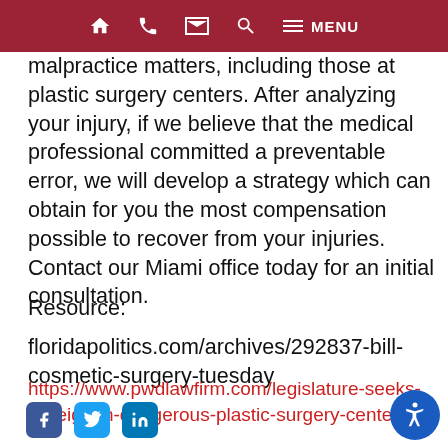🏠 📞 ✉ 🔍 ≡ MENU
malpractice matters, including those at plastic surgery centers. After analyzing your injury, if we believe that the medical professional committed a preventable error, we will develop a strategy which can obtain for you the most compensation possible to recover from your injuries. Contact our Miami office today for an initial consultation.
Resource:
floridapolitics.com/archives/292837-bill-cosmetic-surgery-tuesday
https://www.pwdlawfirm.com/legislature-seeks-to-reign-in-dangerous-plastic-surgery-centers/